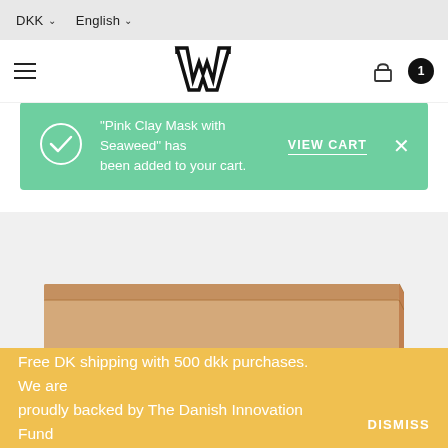DKK  English
[Figure (logo): W logo in serif/gothic style, dark navy]
"Pink Clay Mask with Seaweed" has been added to your cart.  VIEW CART  ×
[Figure (photo): Cardboard box product packaging on light grey background]
Free DK shipping with 500 dkk purchases. We are proudly backed by The Danish Innovation Fund  DISMISS